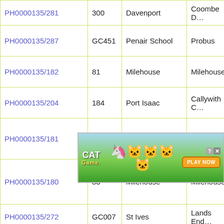| Reference | Route | Location | Area |
| --- | --- | --- | --- |
| PH0000135/281 | 300 | Davenport | Coombe D... |
| PH0000135/287 | GC451 | Penair School | Probus |
| PH0000135/182 | 81 | Milehouse | Milehouse |
| PH0000135/204 | 184 | Port Isaac | Callywith C... |
| PH0000135/181 | 82 | Milehouse | Milehouse |
| PH0000135/180 | 83 | Milehouse | Milehouse |
| PH0000135/272 | GC007 | St Ives | Lands End... |
| PH000... |  |  | ...ewquay |
|  |  |  |  |
[Figure (other): Cat Game mobile game advertisement banner with animated cat characters and 'PLAY NOW' button]